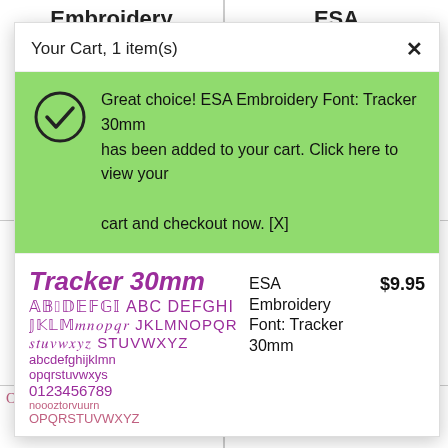ESA Embroidery Font: Flamingo 30mm
ESA Embroidery Font: Dream
Your Cart, 1 item(s)
Great choice! ESA Embroidery Font: Tracker 30mm has been added to your cart. Click here to view your cart and checkout now. [X]
[Figure (illustration): Purple embroidery font preview showing 'Tracker 30mm' title in italic script, uppercase alphabet, lowercase alphabet, and numerals 0123456789 in purple and pink colors]
ESA Embroidery Font: Tracker 30mm
$9.95
[Figure (illustration): Pink embroidery font preview showing partial uppercase alphabet OPQRSTUVWXYZ]
[Figure (illustration): Gold embroidery font preview showing numerals 0123456789 and partial alphabet row above]